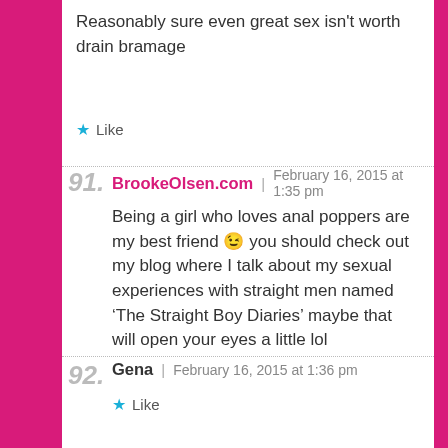Reasonably sure even great sex isn’t worth drain bramage
★ Like
BrookeOlsen.com | February 16, 2015 at 1:35 pm
Being a girl who loves anal poppers are my best friend 😉 you should check out my blog where I talk about my sexual experiences with straight men named ‘The Straight Boy Diaries’ maybe that will open your eyes a little lol
★ Like
Gena | February 16, 2015 at 1:36 pm